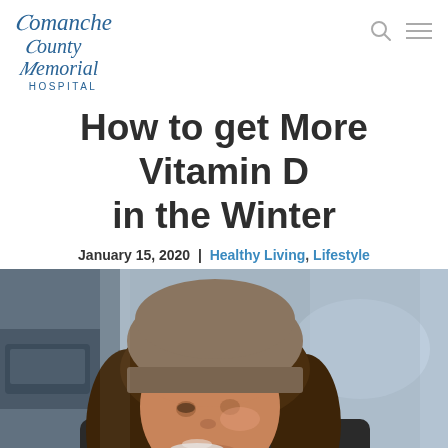Comanche County Memorial Hospital
How to get More Vitamin D in the Winter
January 15, 2020  |  Healthy Living, Lifestyle
[Figure (photo): Young woman wearing a grey knit beanie hat, holding a white cup/mug close to her face, looking downward, photographed outdoors in winter. Background is blurred with a car visible on the left.]